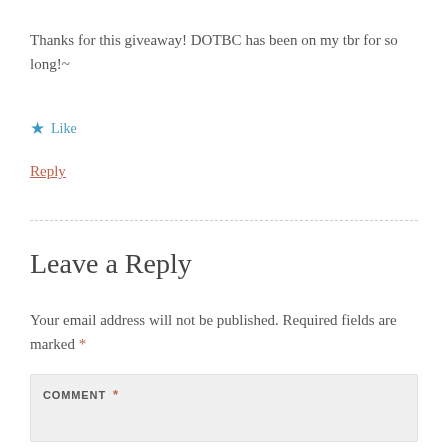Thanks for this giveaway! DOTBC has been on my tbr for so long!~
★ Like
Reply
Leave a Reply
Your email address will not be published. Required fields are marked *
COMMENT *